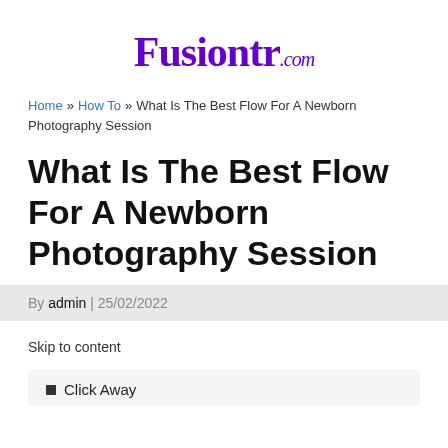[Figure (logo): Fusiontr.com logo in purple decorative font]
Home » How To » What Is The Best Flow For A Newborn Photography Session
What Is The Best Flow For A Newborn Photography Session
By admin | 25/02/2022
Skip to content
Click Away